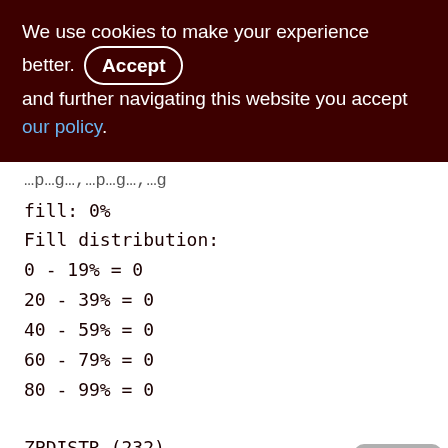We use cookies to make your experience better. By accepting and further navigating this website you accept our policy.
fill: 0%
Fill distribution:
0 - 19% = 0
20 - 39% = 0
40 - 59% = 0
60 - 79% = 0
80 - 99% = 0
ZPDISTR (232)
Primary pointer page: 573, Index root page: 574
Average record length: 0.00, total records: